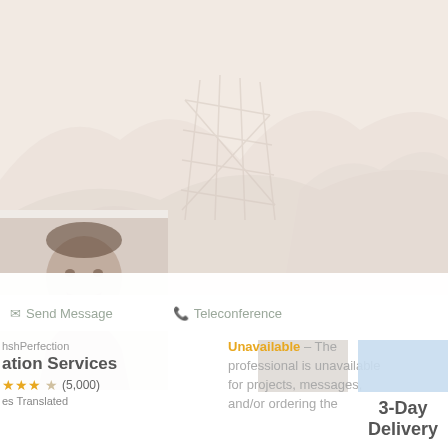[Figure (photo): Faded/washed-out background landscape photo showing a bridge or staircase structure amid rocky terrain, very low contrast]
[Figure (photo): Partial profile photo of a man (head and shoulders) on the left side, faded]
Send Message
Teleconference
hshPerfection
ation Services
★★★☆ (5,000)
es Translated
Unavailable – The professional is unavailable for projects, messages, and/or ordering the
3-Day
Delivery